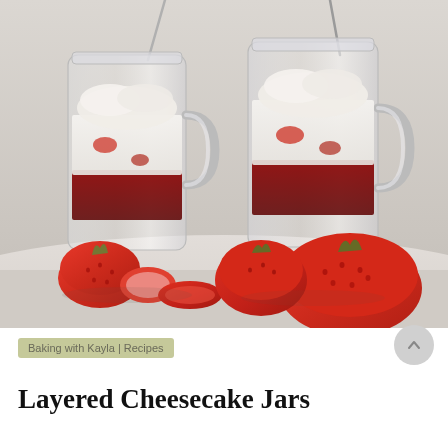[Figure (photo): Two glass mason jars filled with layered cheesecake dessert topped with whipped cream, with fresh red strawberries arranged in front on a light grey surface.]
Baking with Kayla | Recipes
Layered Cheesecake Jars